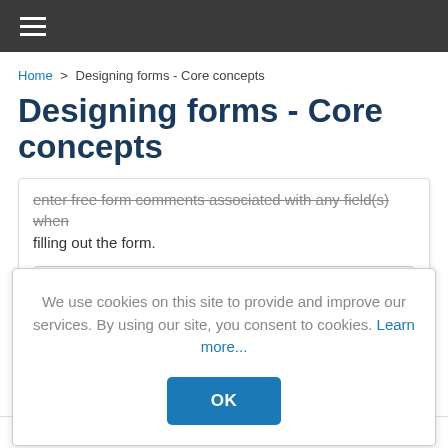≡
Home > Designing forms - Core concepts
Designing forms - Core concepts
enter free form comments associated with any field(s) when filling out the form.
READ NOW...
We use cookies on this site to provide and improve our services. By using our site, you consent to cookies. Learn more...
OK
READ NOW